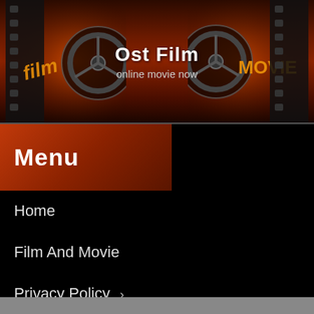Ost Film
online movie now
Menu
Home
Film And Movie
Privacy Policy ›
DMCA Policy
Terms of Use
Contact Us